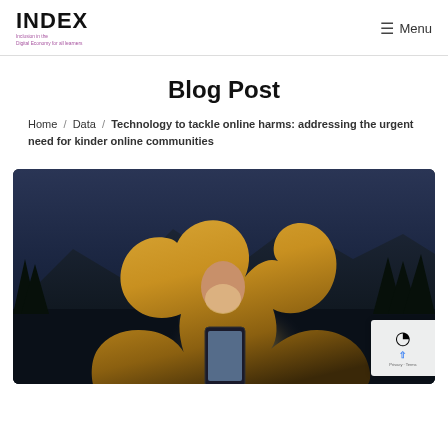INDEX — Inclusion in the Digital Economy for all learners | Menu
Blog Post
Home / Data / Technology to tackle online harms: addressing the urgent need for kinder online communities
[Figure (photo): A young woman with long blonde hair illuminated by screen glow looking down at a smartphone, photographed at dusk with dark mountain/tree silhouette background.]